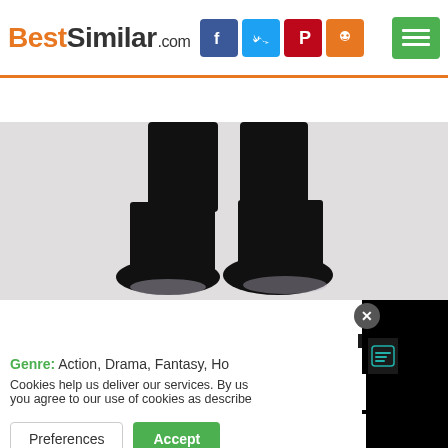[Figure (screenshot): BestSimilar.com website header with logo, social media icons (Facebook, Twitter, Pinterest, Reddit), and green hamburger menu button]
[Figure (screenshot): Search bar with placeholder text 'Movies like ... | Movies about ...' and orange search button]
[Figure (photo): Movie still showing dark figure legs walking in snow, cropped from knees down]
[Figure (screenshot): Dark trailer play button bar reading TRAILER with play icon]
Genre: Action, Drama, Fantasy, Ho...
Cookies help us deliver our services. By us... you agree to our use of cookies as describe...
Preferences  Accept